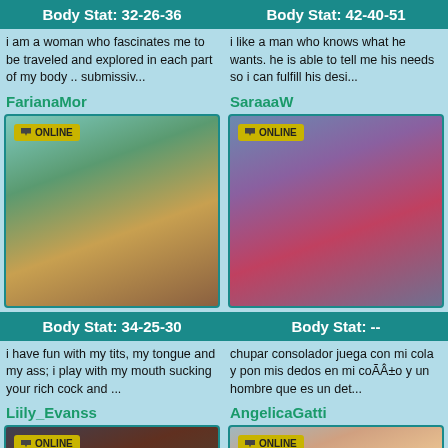Body Stat: 32-26-36
Body Stat: 42-40-51
i am a woman who fascinates me to be traveled and explored in each part of my body .. submissiv...
i like a man who knows what he wants. he is able to tell me his needs so i can fulfill his desi...
FarianaMor
SaraaaW
[Figure (photo): Online badge with woman on bed]
[Figure (photo): Online badge with woman posing]
Body Stat: 34-25-30
Body Stat: --
i have fun with my tits, my tongue and my ass; i play with my mouth sucking your rich cock and ...
chupar consolador juega con mi cola y pon mis dedos en mi coÃÂ±o y un hombre que es un det...
Liily_Evanss
AngelicaGatti
[Figure (photo): Online badge with woman]
[Figure (photo): Online badge with woman]